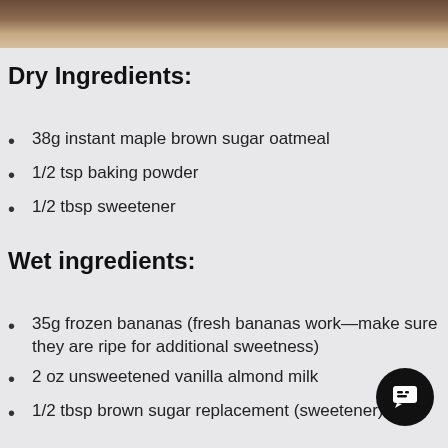[Figure (photo): Partial photo of food/baked goods on a plate with a gold fork, visible at the top strip of the page]
Dry Ingredients:
38g instant maple brown sugar oatmeal
1/2 tsp baking powder
1/2 tbsp sweetener
Wet ingredients:
35g frozen bananas (fresh bananas work—make sure they are ripe for additional sweetness)
2 oz unsweetened vanilla almond milk
1/2 tbsp brown sugar replacement (sweetener)